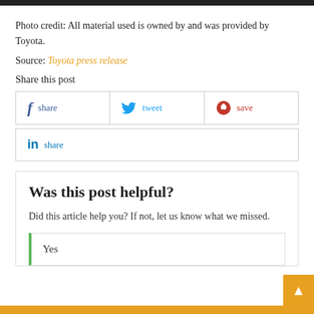Photo credit: All material used is owned by and was provided by Toyota.
Source: Toyota press release
Share this post
f share | tweet | save
in share
Was this post helpful?
Did this article help you? If not, let us know what we missed.
Yes